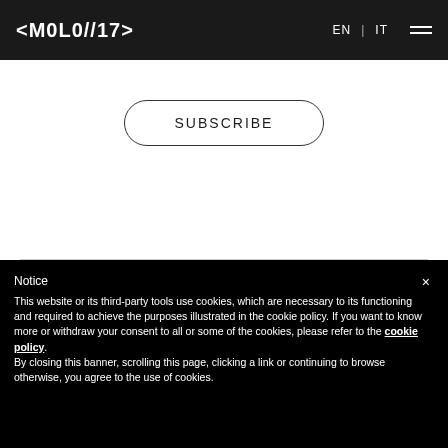<MOLO//17>  EN | IT  ≡
SUBSCRIBE
Notice
This website or its third-party tools use cookies, which are necessary to its functioning and required to achieve the purposes illustrated in the cookie policy. If you want to know more or withdraw your consent to all or some of the cookies, please refer to the cookie policy. By closing this banner, scrolling this page, clicking a link or continuing to browse otherwise, you agree to the use of cookies.